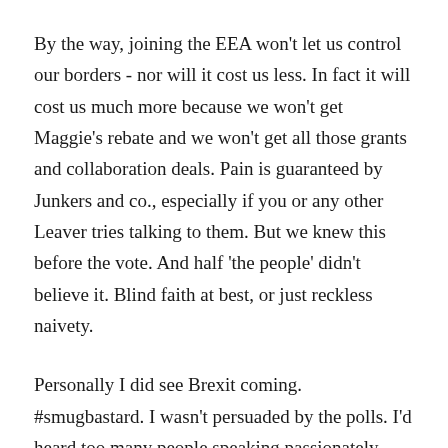By the way, joining the EEA won't let us control our borders - nor will it cost us less. In fact it will cost us much more because we won't get Maggie's rebate and we won't get all those grants and collaboration deals. Pain is guaranteed by Junkers and co., especially if you or any other Leaver tries talking to them. But we knew this before the vote. And half 'the people' didn't believe it. Blind faith at best, or just reckless naivety.
Personally I did see Brexit coming. #smugbastard. I wasn't persuaded by the polls. I'd heard too many people speaking passionately about their individual lives being affected by immigration. There are a lot of them (not in Scotland, N Ireland or London). I understand why they have issues with this from a point of view of depressing wages (the racists amongst them can go to hell), and there is definitely a